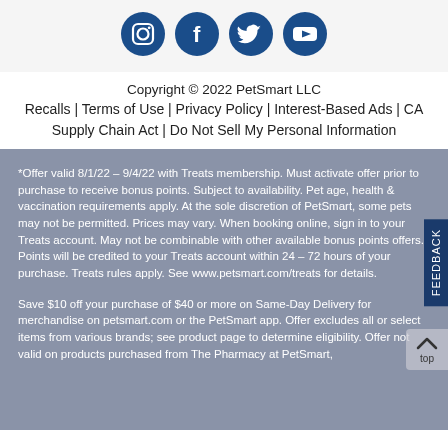[Figure (other): Social media icons: Instagram, Facebook, Twitter, YouTube — all dark blue circles with white icons]
Copyright © 2022 PetSmart LLC
Recalls | Terms of Use | Privacy Policy | Interest-Based Ads | CA Supply Chain Act | Do Not Sell My Personal Information
*Offer valid 8/1/22 – 9/4/22 with Treats membership. Must activate offer prior to purchase to receive bonus points. Subject to availability. Pet age, health & vaccination requirements apply. At the sole discretion of PetSmart, some pets may not be permitted. Prices may vary. When booking online, sign in to your Treats account. May not be combinable with other available bonus points offers. Points will be credited to your Treats account within 24 – 72 hours of your purchase. Treats rules apply. See www.petsmart.com/treats for details.
Save $10 off your purchase of $40 or more on Same-Day Delivery for merchandise on petsmart.com or the PetSmart app. Offer excludes all or select items from various brands; see product page to determine eligibility. Offer not valid on products purchased from The Pharmacy at PetSmart,